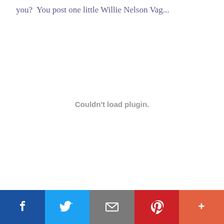you?  You post one little Willie Nelson Vag...
[Figure (other): Embedded plugin area showing 'Couldn't load plugin.' error message]
Social sharing bar with Facebook, Twitter, Email, Pinterest, and More buttons